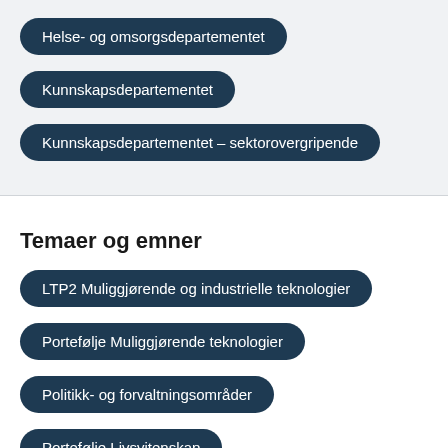Helse- og omsorgsdepartementet
Kunnskapsdepartementet
Kunnskapsdepartementet – sektorovergripende
Temaer og emner
LTP2 Muliggjørende og industrielle teknologier
Portefølje Muliggjørende teknologier
Politikk- og forvaltningsområder
Portefølje Livsvitenskap